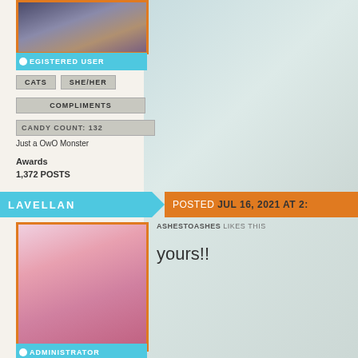[Figure (illustration): Top user avatar: two anime-style figures against dark background]
REGISTERED USER
CATS
SHE/HER
COMPLIMENTS
CANDY COUNT: 132
Just a OwO Monster
Awards
1,372 POSTS
LAVELLAN    POSTED JUL 16, 2021 AT 2:
[Figure (illustration): Bottom user avatar: anime-style couple in romantic pose with cherry blossoms]
ASHESTOASHES LIKES THIS
yours!!
ADMINISTRATOR